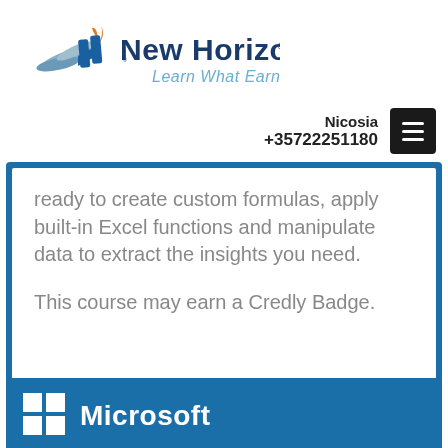[Figure (logo): New Horizons logo with stylized bird/arrow icon and tagline 'Learn What Earns']
Nicosia
+35722251180
ready to create custom formulas, apply built-in Excel functions and manipulate data to extract the insights you need.

This course may earn a Credly Badge.
[Figure (logo): Microsoft logo with four-color Windows grid icon and 'Microsoft' text in white]